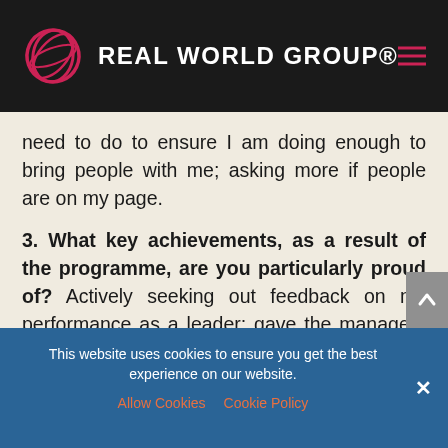REAL WORLD GROUP®
need to do to ensure I am doing enough to bring people with me; asking more if people are on my page.
3. What key achievements, as a result of the programme, are you particularly proud of? Actively seeking out feedback on my performance as a leader; gave the managers and union reps enough
This website uses cookies to ensure you get the best experience on our website.
Allow Cookies   Cookie Policy